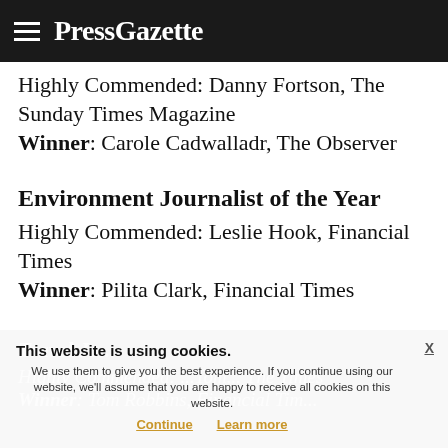PressGazette
Highly Commended:  Danny Fortson, The Sunday Times Magazine
Winner:  Carole Cadwalladr, The Observer
Environment Journalist of the Year
Highly Commended:  Leslie Hook, Financial Times
Winner:  Pilita Clark, Financial Times
Travel Jo...
Highly Commended: ...Tom...The Times
Winner:  Tom Robbins, Financial Times...
This website is using cookies. We use them to give you the best experience. If you continue using our website, we'll assume that you are happy to receive all cookies on this website.